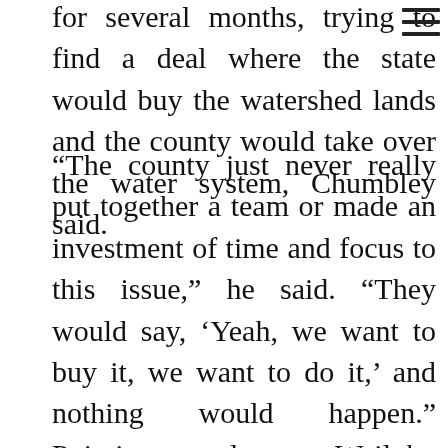for several months, trying to find a deal where the state would buy the watershed lands and the county would take over the water system, Chumbley said.
“The county just never really put together a team or made an investment of time and focus to this issue,” he said. “They would say, ‘Yeah, we want to buy it, we want to do it,’ and nothing would happen.” Pointing to losses, Wailuku Water Co. has sought for about two decades to sell its water delivery system, along with nearly 9,000 acres of Na Wai ‘Eha watershed land.
Under the Arakawa administration, the county had considered buying the company’s assets, including the water delivery system and the land, for $9.5 million.
Over the years, the state had mulled purchasing just the watershed land. Money was appropriated, then it